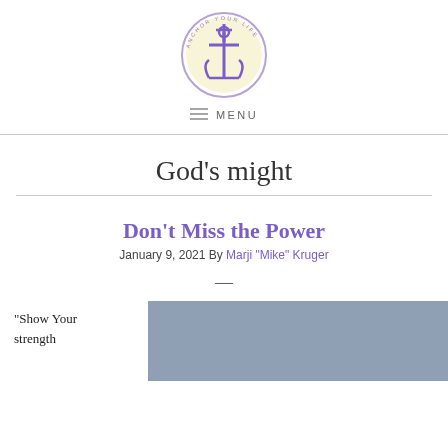[Figure (logo): Anchor Your Life circular logo with anchor and cross in purple and yellow]
MENU
God's might
Don't Miss the Power
January 9, 2021 By Marji "Mike" Kruger
—
“Show Your strength